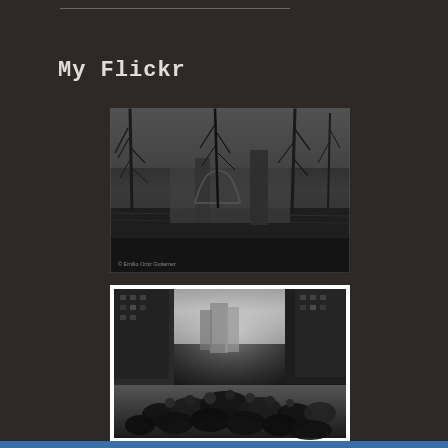My Flickr
[Figure (photo): Black and white photograph of bare winter trees with a gothic-style building or bridge visible through the branches, viewed from an elevated perspective. Watermark reads '© Emilio Ortiz Gutierrez' in the lower left.]
[Figure (photo): Black and white photograph of a crowded urban street scene with tall buildings on either side forming a canyon effect, sunlight visible at the far end. Crowds of people fill the street in the foreground.]